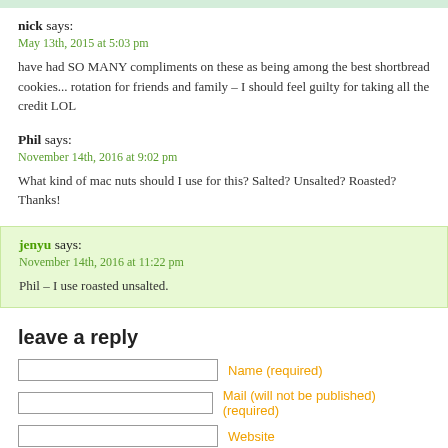nick says:
May 13th, 2015 at 5:03 pm

have had SO MANY compliments on these as being among the best shortbread cookies... rotation for friends and family – I should feel guilty for taking all the credit LOL
Phil says:
November 14th, 2016 at 9:02 pm

What kind of mac nuts should I use for this? Salted? Unsalted? Roasted? Thanks!
jenyu says:
November 14th, 2016 at 11:22 pm

Phil – I use roasted unsalted.
leave a reply
Name (required)
Mail (will not be published) (required)
Website